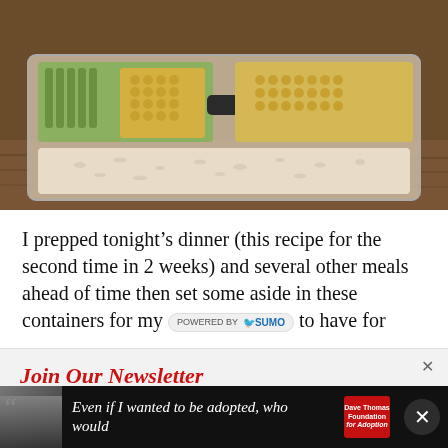[Figure (photo): Photo of meal prep containers filled with rice and vegetables (asparagus, corn) on a wooden table, viewed from above at an angle.]
I prepped tonight’s dinner (this recipe for the second time in 2 weeks) and several other meals ahead of time then set some aside in these containers for my [POWERED BY SUMO] to have for
[Figure (screenshot): Newsletter popup overlay with title 'Join Our Newsletter', description 'Free Delivery! Receive previews of recipes, printables, and other fun news.', email input field, and a close button (x) in the top right corner.]
[Figure (screenshot): Advertisement banner at the bottom showing a woman's photo, quote text 'Even if I wanted to be adopted, who would', Dave Thomas Foundation for Adoption logo, and a close X button.]